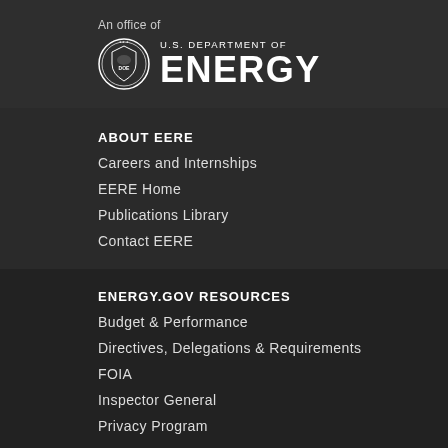[Figure (logo): U.S. Department of Energy logo with circular seal and text 'U.S. DEPARTMENT OF ENERGY']
ABOUT EERE
Careers and Internships
EERE Home
Publications Library
Contact EERE
ENERGY.GOV RESOURCES
Budget & Performance
Directives, Delegations & Requirements
FOIA
Inspector General
Privacy Program